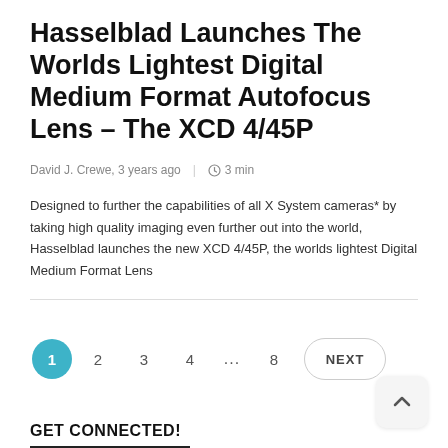Hasselblad Launches The Worlds Lightest Digital Medium Format Autofocus Lens – The XCD 4/45P
David J. Crewe, 3 years ago  |  🕐 3 min
Designed to further the capabilities of all X System cameras* by taking high quality imaging even further out into the world, Hasselblad launches the new XCD 4/45P, the worlds lightest Digital Medium Format Lens
1  2  3  4  ...  8  NEXT
GET CONNECTED!